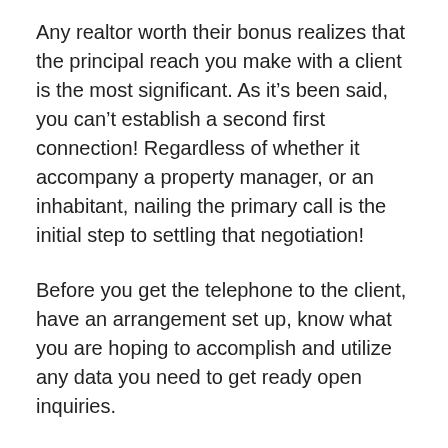Any realtor worth their bonus realizes that the principal reach you make with a client is the most significant. As it's been said, you can't establish a second first connection! Regardless of whether it accompany a property manager, or an inhabitant, nailing the primary call is the initial step to settling that negotiation!
Before you get the telephone to the client, have an arrangement set up, know what you are hoping to accomplish and utilize any data you need to get ready open inquiries.
In light of this here are my top tips on the best way to settle on an incredible deals decision:
1. The initial 10